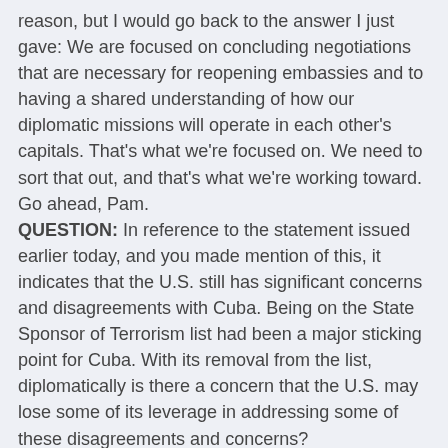reason, but I would go back to the answer I just gave: We are focused on concluding negotiations that are necessary for reopening embassies and to having a shared understanding of how our diplomatic missions will operate in each other's capitals. That's what we're focused on. We need to sort that out, and that's what we're working toward. Go ahead, Pam.
QUESTION: In reference to the statement issued earlier today, and you made mention of this, it indicates that the U.S. still has significant concerns and disagreements with Cuba. Being on the State Sponsor of Terrorism list had been a major sticking point for Cuba. With its removal from the list, diplomatically is there a concern that the U.S. may lose some of its leverage in addressing some of these disagreements and concerns?
MR RATHKE: Well, again, as I've said, we've – this has been a – we do not consider this to be part of the negotiations on re-establishing embassies. This has not been a topic of negotiation; it is not – also not part of the agenda for re-establishing relations. I think my answer to Matt on that stands.
QUESTION: But it had been a big issue for Cuba.